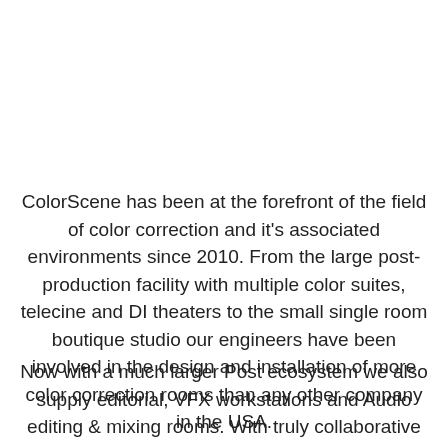ColorScene has been at the forefront of the field of color correction and it's associated environments since 2010. From the large post-production facility with multiple color suites, telecine and DI theaters to the small single room boutique studio our engineers have been involved in the design and installation of more color correction rooms than any other company in the USA.
Now with a much larger Post ecosystem we also supply editorial, VFX workstations and Audio editing & mixing rooms. With truly collaborative environments providing the